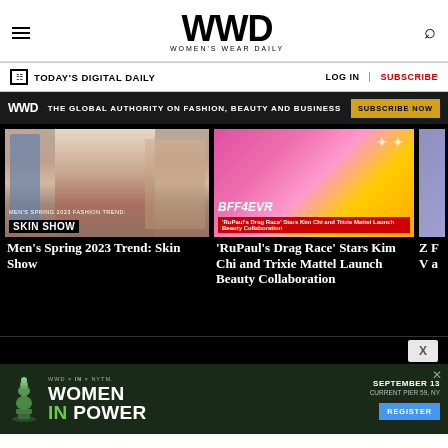WWD — Women's Wear Daily
TODAY'S DIGITAL DAILY | LOG IN | SUBSCRIBE
WWD — THE GLOBAL AUTHORITY ON FASHION, BEAUTY AND BUSINESS — SUBSCRIBE NOW
[Figure (photo): Men's Spring 2023 Fashion Trend: Skin Show — male model on runway]
Men's Spring 2023 Trend: Skin Show
[Figure (photo): BFF4EVR — RuPaul's Drag Race Stars Kim Chi and Trixie Mattel Launch Beauty Collaboration — two drag queens in pink and yellow outfits]
'RuPaul's Drag Race' Stars Kim Chi and Trixie Mattel Launch Beauty Collaboration
[Figure (photo): Women In Power advertisement — WWD x IN x NYTM — September 13, Current Pier 59, NY — Register button — chess queen piece graphic]
X